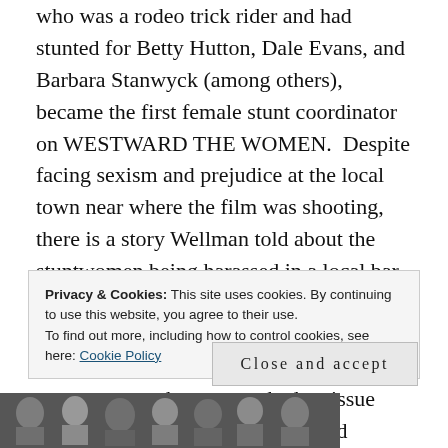who was a rodeo trick rider and had stunted for Betty Hutton, Dale Evans, and Barbara Stanwyck (among others), became the first female stunt coordinator on WESTWARD THE WOMEN.  Despite facing sexism and prejudice at the local town near where the film was shooting, there is a story Wellman told about the stuntwomen being harassed in a local bar which they soon put a stop to by putting a very tight grip on the men's testicles (one stuntwomen broke a nail), the production crew seems to have never had an issue working alongside the two hundred women.  William Wellman certainly didn't
Privacy & Cookies: This site uses cookies. By continuing to use this website, you agree to their use.
To find out more, including how to control cookies, see here: Cookie Policy
Close and accept
[Figure (photo): Black and white photo strip showing people, partially visible at the bottom of the page]